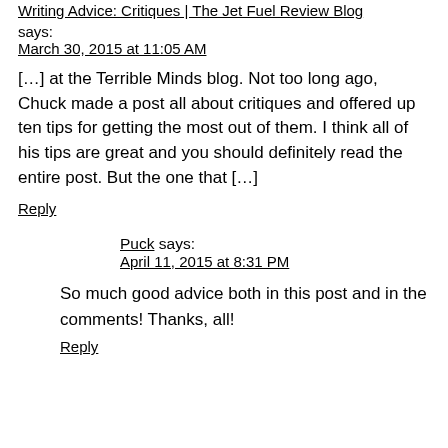Writing Advice: Critiques | The Jet Fuel Review Blog
says:
March 30, 2015 at 11:05 AM
[…] at the Terrible Minds blog. Not too long ago, Chuck made a post all about critiques and offered up ten tips for getting the most out of them. I think all of his tips are great and you should definitely read the entire post. But the one that […]
Reply
Puck says:
April 11, 2015 at 8:31 PM
So much good advice both in this post and in the comments! Thanks, all!
Reply